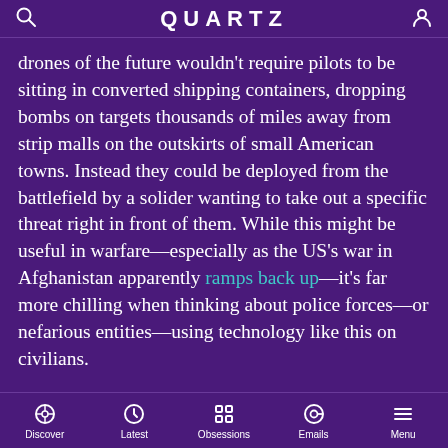QUARTZ
drones of the future wouldn't require pilots to be sitting in converted shipping containers, dropping bombs on targets thousands of miles away from strip malls on the outskirts of small American towns. Instead they could be deployed from the battlefield by a solider wanting to take out a specific threat right in front of them. While this might be useful in warfare—especially as the US's war in Afghanistan apparently ramps back up—it's far more chilling when thinking about police forces—or nefarious entities—using technology like this on civilians.
[Figure (other): Gray rounded rectangle advertisement placeholder showing '404']
Discover  Latest  Obsessions  Emails  Menu